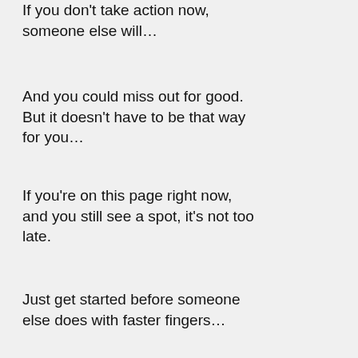If you don't take action now, someone else will…
And you could miss out for good. But it doesn't have to be that way for you…
If you're on this page right now, and you still see a spot, it's not too late.
Just get started before someone else does with faster fingers…